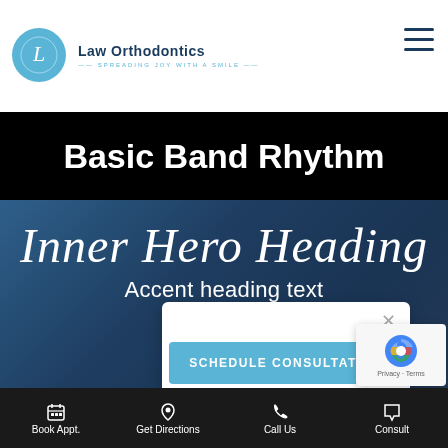[Figure (logo): Law Orthodontics logo with circular L emblem and tagline SPREADING JOY WITH A SMILE]
Basic Band Rhythm
Inner Hero Heading
Accent heading text
[Figure (screenshot): Popup card with close X and SCHEDULE CONSULTATION button in teal]
[Figure (other): reCAPTCHA badge with Privacy and Terms text]
Book Appt.   Get Directions   Call Us   Consult